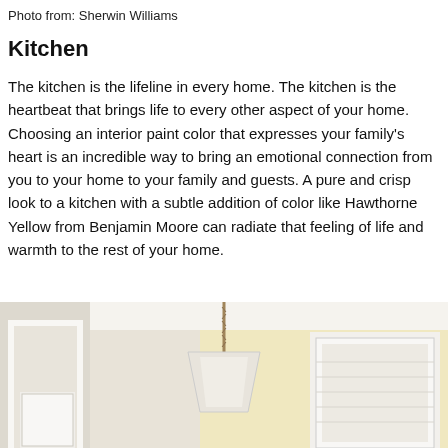Photo from: Sherwin Williams
Kitchen
The kitchen is the lifeline in every home. The kitchen is the heartbeat that brings life to every other aspect of your home. Choosing an interior paint color that expresses your family’s heart is an incredible way to bring an emotional connection from you to your home to your family and guests. A pure and crisp look to a kitchen with a subtle addition of color like Hawthorne Yellow from Benjamin Moore can radiate that feeling of life and warmth to the rest of your home.
[Figure (photo): Kitchen interior photo showing white cabinetry, a pendant light with rope cord, and pale yellow walls suggesting a warm, bright kitchen space.]